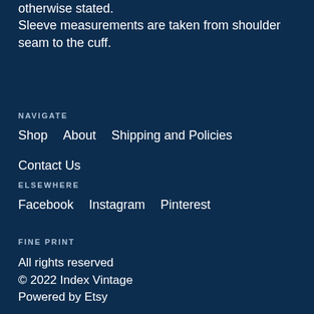otherwise stated.
Sleeve measurements are taken from shoulder seam to the cuff.
NAVIGATE
Shop
About
Shipping and Policies
Contact Us
ELSEWHERE
Facebook
Instagram
Pinterest
FINE PRINT
All rights reserved
© 2022 Index Vintage
Powered by Etsy